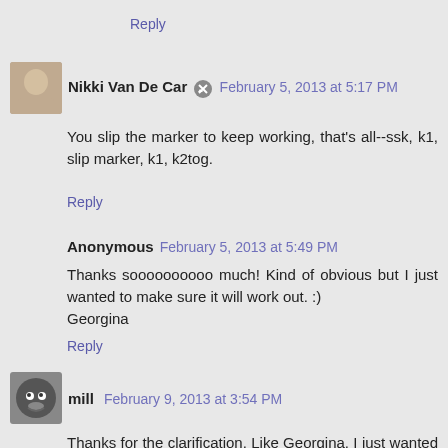Reply
Nikki Van De Car  February 5, 2013 at 5:17 PM
You slip the marker to keep working, that's all--ssk, k1, slip marker, k1, k2tog.
Reply
Anonymous  February 5, 2013 at 5:49 PM
Thanks soooooooooo much! Kind of obvious but I just wanted to make sure it will work out. :)
Georgina
Reply
mill  February 9, 2013 at 3:54 PM
Thanks for the clarification. Like Georgina, I just wanted to be 100% sure before ruining it and having to undo all my work. But I guess it was kind of obvious and sometimes you